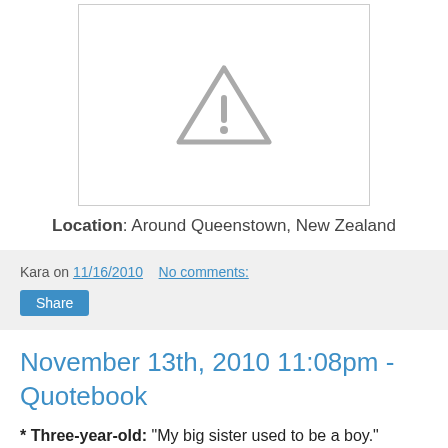[Figure (illustration): Broken image placeholder icon — grey triangle with exclamation mark inside a white bordered box]
Location: Around Queenstown, New Zealand
Kara on 11/16/2010    No comments:
Share
November 13th, 2010 11:08pm - Quotebook
* Three-year-old: "My big sister used to be a boy."
* Three-year-old: "Kara, do you love me?"
Me: "Of course I love you!"
Three-year-old: "Is it because I can do cool things?